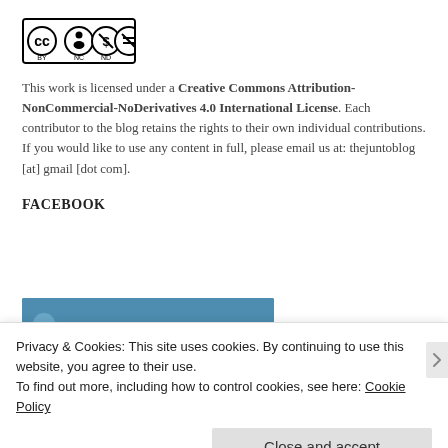[Figure (logo): Creative Commons BY-NC-ND license badge showing CC, person, dollar with slash, and equals-with-slash icons in circles, with BY NC ND text below]
This work is licensed under a Creative Commons Attribution-NonCommercial-NoDerivatives 4.0 International License. Each contributor to the blog retains the rights to their own individual contributions. If you would like to use any content in full, please email us at: thejuntoblog [at] gmail [dot com].
FACEBOOK
[Figure (screenshot): Partial Facebook widget with blue header bar and circular profile icon partially visible]
Privacy & Cookies: This site uses cookies. By continuing to use this website, you agree to their use.
To find out more, including how to control cookies, see here: Cookie Policy
Close and accept